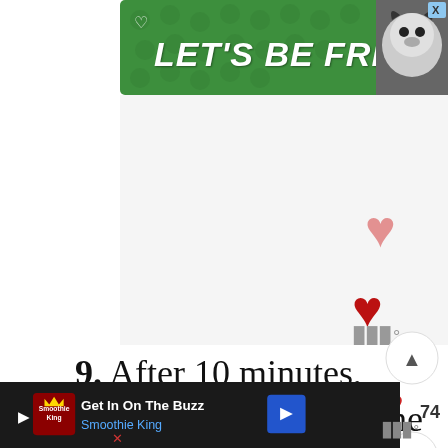[Figure (screenshot): Green advertisement banner reading LET'S BE FRIENDS with a husky dog image on the right and a heart icon, with a close X button]
[Figure (screenshot): White content area with floating pink and red heart icons and a temperature/bar graph icon]
[Figure (screenshot): Sidebar UI elements: up arrow button, red heart with count 774, outline heart button, and red search button]
9. After 10 minutes, remove the pot from the stove, CAREFULLY remove the jars from the water (I
[Figure (screenshot): Bottom advertisement bar: Smoothie King Get In On The Buzz ad with logo, play button, navigation arrow, and X close button. Also shows temperature icon on right.]